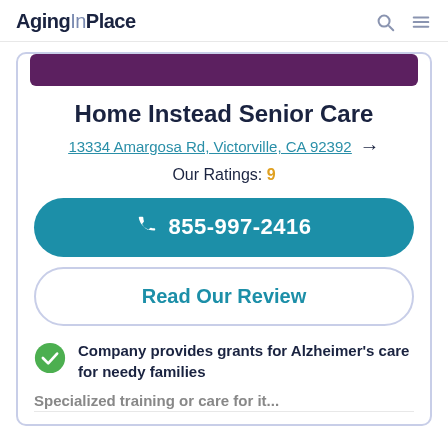AgingInPlace
Home Instead Senior Care
13334 Amargosa Rd, Victorville, CA 92392
Our Ratings: 9
855-997-2416
Read Our Review
Company provides grants for Alzheimer's care for needy families
Specialized training or care for it...